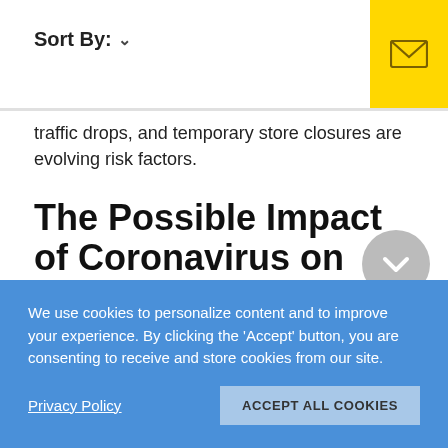Sort By: ∨
traffic drops, and temporary store closures are evolving risk factors.
The Possible Impact of Coronavirus on Software Development
Will the quarantines and disturbing macroeconomic trends brought by the coronavirus impact IT industry as well? Yes, they will as this industry is highly globalized.
We use cookies to personalize content and to improve your experience. By clicking the 'Accept' button, you are consenting to receive and store cookies from our site.
Privacy Policy    ACCEPT ALL COOKIES